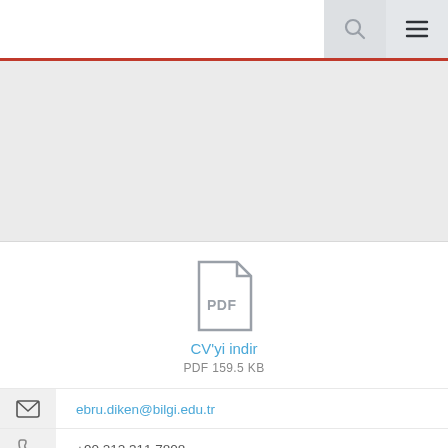[Figure (screenshot): Navigation bar with search (magnifying glass) and menu (hamburger) icons on the right side against a light gray background, with a red horizontal rule below.]
[Figure (photo): Gray placeholder area, likely for a profile photo.]
[Figure (illustration): PDF file icon (document outline with folded corner) with the label PDF inside.]
CV'yi indir
PDF 159.5 KB
ebru.diken@bilgi.edu.tr
+90 212 311 7808